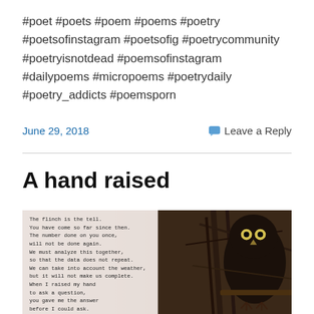#poet #poets #poem #poems #poetry #poetsofinstagram #poetsofig #poetrycommunity #poetryisnotdead #poemsofinstagram #dailypoems #micropoems #poetrydaily #poetry_addicts #poemsporn
June 29, 2018
Leave a Reply
A hand raised
[Figure (photo): A black and white photo of an owl perched on a branch, with typewritten poem text overlaid on the left side. The poem reads: The flinch is the tell. You have come so far since then. The number done on you once, will not be done again. We must analyze this together, so that the data does not repeat. We can take into account the weather, but it will not make us complete. When I raised my hand to ask a question, you gave me the answer before I could ask.]